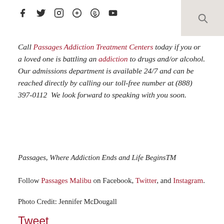f  ✦  🐦  📷  ®  ▶  🔍
Call Passages Addiction Treatment Centers today if you or a loved one is battling an addiction to drugs and/or alcohol. Our admissions department is available 24/7 and can be reached directly by calling our toll-free number at (888) 397-0112  We look forward to speaking with you soon.
Passages, Where Addiction Ends and Life BeginsTM
Follow Passages Malibu on Facebook, Twitter, and Instagram.
Photo Credit: Jennifer McDougall
Tweet
CHRIS PRENTISS
LUXURY ALCOHOL REHAB
LUXURY DETOX CENTER
LUXURY DRUG TREATMENT